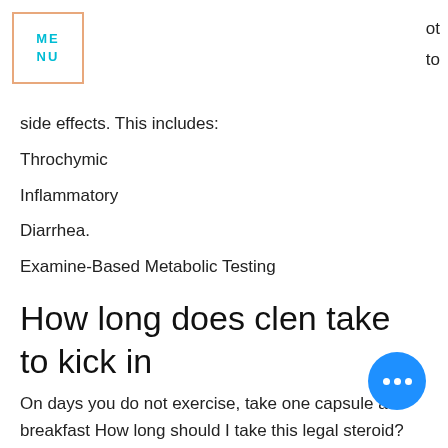ME
NU
ot
to
side effects. This includes:
Throchymic
Inflammatory
Diarrhea.
Examine-Based Metabolic Testing
How long does clen take to kick in
On days you do not exercise, take one capsule at breakfast How long should I take this legal steroid?
The first two weeks of therapy, the dose is 1